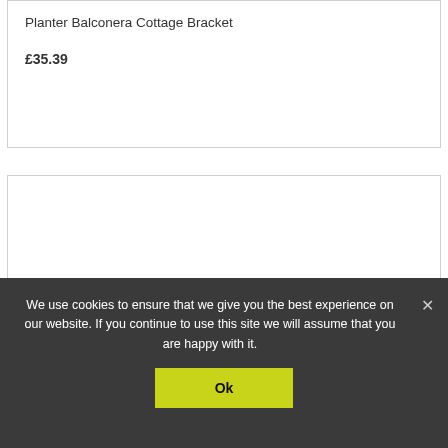Planter Balconera Cottage Bracket
£35.39
[Figure (other): Empty white product image card]
We use cookies to ensure that we give you the best experience on our website. If you continue to use this site we will assume that you are happy with it.
Ok